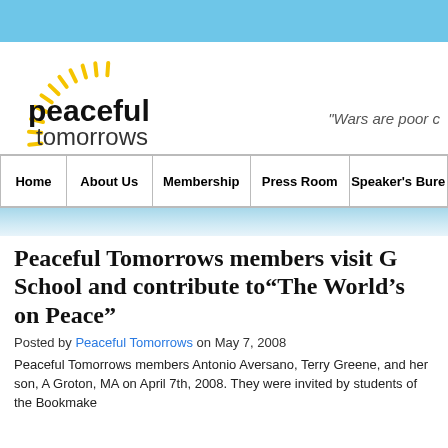[Figure (logo): Peaceful Tomorrows logo: a golden sun with radiating lines above bold text 'peaceful tomorrows']
"Wars are poor c
Home | About Us | Membership | Press Room | Speaker's Bure
Peaceful Tomorrows members visit Groton School and contribute to "The World's on Peace"
Posted by Peaceful Tomorrows on May 7, 2008
Peaceful Tomorrows members Antonio Aversano, Terry Greene, and her son, A Groton, MA on April 7th, 2008. They were invited by students of the Bookmake